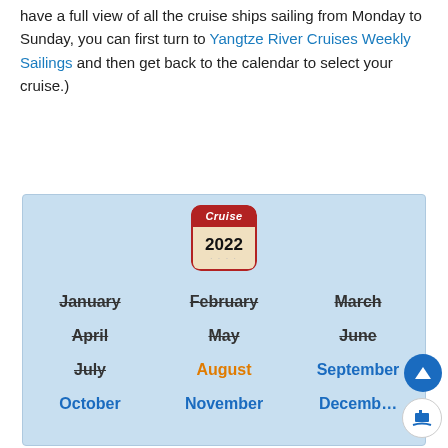have a full view of all the cruise ships sailing from Monday to Sunday, you can first turn to Yangtze River Cruises Weekly Sailings and then get back to the calendar to select your cruise.)
[Figure (infographic): 2022 cruise calendar with months listed. January, February, March, April, May, June, July are struck through. August is in orange. September, October, November, December are in blue. A red calendar icon with 'Cruise 2022' is at the top.]
[Figure (infographic): 2023 cruise calendar beginning, showing red calendar icon with 'Cruise 2023' at top, partially visible.]